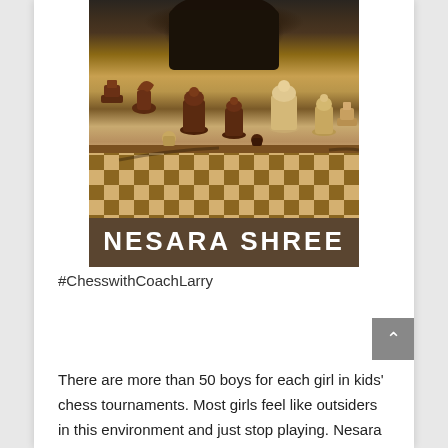[Figure (photo): Photo of Nesara Shree leaning over a chess board with chess pieces in the foreground; dark brown name bar below with 'NESARA SHREE' in white block letters]
#ChesswithCoachLarry
There are more than 50 boys for each girl in kids' chess tournaments. Most girls feel like outsiders in this environment and just stop playing. Nesara Shree wants to change that. When she started playing chess in third grade, she too felt intimidated and alone among all the